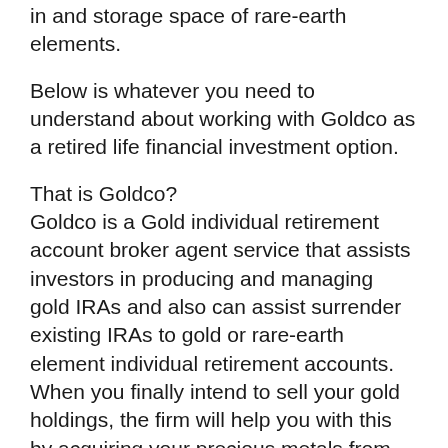in and storage space of rare-earth elements.
Below is whatever you need to understand about working with Goldco as a retired life financial investment option.
That is Goldco?
Goldco is a Gold individual retirement account broker agent service that assists investors in producing and managing gold IRAs and also can assist surrender existing IRAs to gold or rare-earth element individual retirement accounts. When you finally intend to sell your gold holdings, the firm will help you with this by acquiring your precious metals from you or marketing them in your place in the metal market.